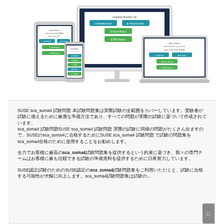[Figure (illustration): Responsive device mockup showing a desktop monitor, laptop, tablet, and mobile phone all displaying an exam/quiz interface with blue and green UI buttons.]
SUSE sca_suma4 試験問題 本試験問題集は実際試験の全範囲をカバーしています。受験者が試験に備えるために最適な準備方法であり、すべての問題が実際の試験に基づいて作成されています。
sca_suma4 試験問題SUSE sca_suma4 試験問題 実際の試験に同様の問題がたくさん出ますので、SUSE sca_suma4に合格するためにSUSE sca_suma4 試験問題 で試験の問題集をsca_suma4合格のために使用することをお勧めします。

全力でお客様に最高のSUSE sca_suma4試験問題集を提供するという約束に基づき、我々の専門チームはお客様に最も信頼できる試験の準備資料を提供するために日夜努力しています。

SUSE認定試験のためのsca_suma4試験問題集をご利用いただくと、試験に合格する可能性が大幅に向上します。sca_suma4試験問題集は試験の...